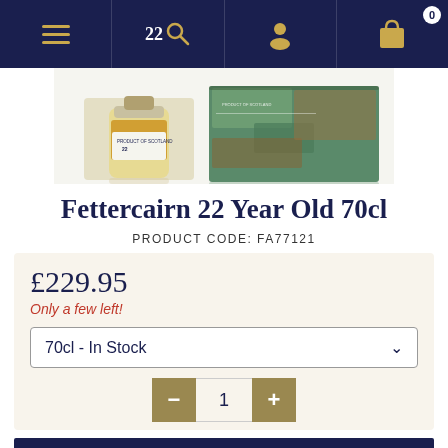Navigation bar with menu, search (22), account, and bag (0) icons
[Figure (photo): Product photo of Fettercairn 22 Year Old whisky bottle and box, showing a crystal decanter-style bottle with amber liquid alongside a teal/copper textured box, labelled 'Product of Scotland']
Fettercairn 22 Year Old 70cl
PRODUCT CODE: FA77121
£229.95
Only a few left!
70cl - In Stock
1
ADD TO BAG